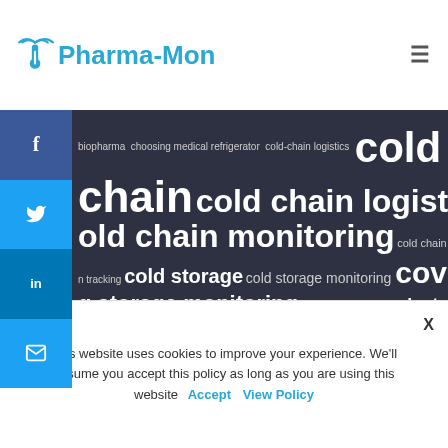Pharma-Mon
[Figure (infographic): Tag cloud with pharmaceutical/cold chain keywords on dark background. Words include: biopharma, choosing medical refrigerator, cold-chain logistics, cold chain, cold chain logistics, cold chain management, cold chain monitoring, cold chain temperature, cold tracking, cold storage, cold storage monitoring, covid-19, drug storage monitoring, Internet Of Things (IoT), last mile delivery, logistics, medical refrigerator, monitoring systems, pharmaceutical, pharmaceutical storage, pharmaceutical storage temperature, Pharma cold chain, pharma logistics, Pharma. Social sharing sidebar with Facebook, Twitter, LinkedIn, Email buttons.]
This website uses cookies to improve your experience. We'll assume you accept this policy as long as you are using this website  Accept  View Policy